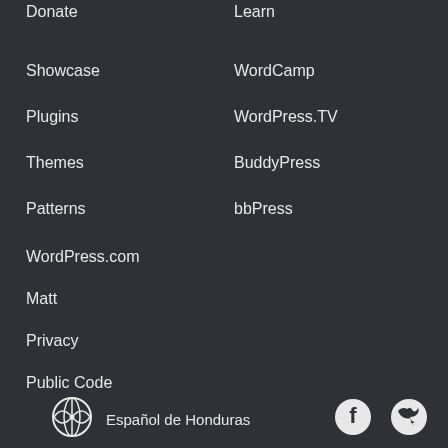Donate
Learn
Showcase
WordCamp
Plugins
WordPress.TV
Themes
BuddyPress
Patterns
bbPress
WordPress.com
Matt
Privacy
Public Code
Español de Honduras